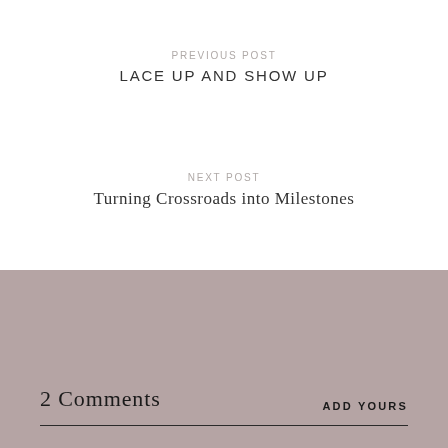PREVIOUS POST
LACE UP AND SHOW UP
NEXT POST
Turning Crossroads into Milestones
2 Comments
ADD YOURS